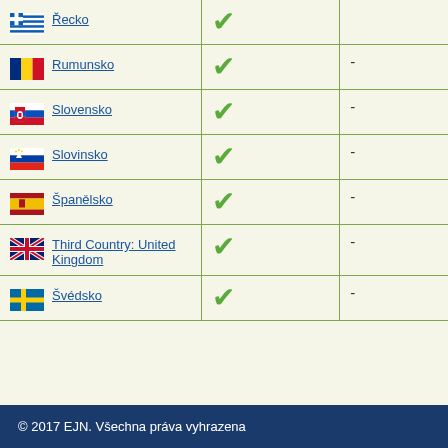| Country | Check | Info |
| --- | --- | --- |
| Řecko | ✔ |  |
| Rumunsko | ✔ | - |
| Slovensko | ✔ | - |
| Slovinsko | ✔ | - |
| Španělsko | ✔ | - |
| Third Country: United Kingdom | ✔ | - |
| Švédsko | ✔ | - |
© 2017 EJN. Všechna práva vyhrazena